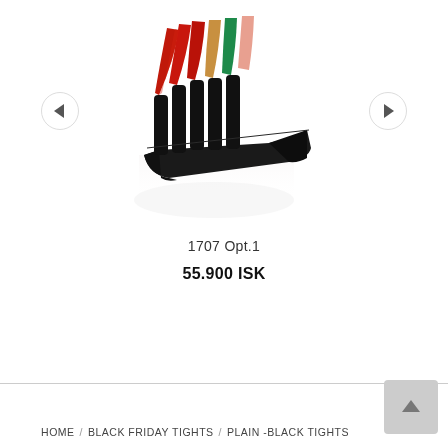[Figure (photo): A colorful multi-toned wedge sandal shoe with red, tan/tan, green, and pink/salmon leather straps on a black platform wedge base, photographed against a white background with reflection. Left and right navigation arrow buttons are overlaid on the image.]
1707 Opt.1
55.900 ISK
HOME / BLACK FRIDAY TIGHTS / PLAIN -BLACK TIGHTS